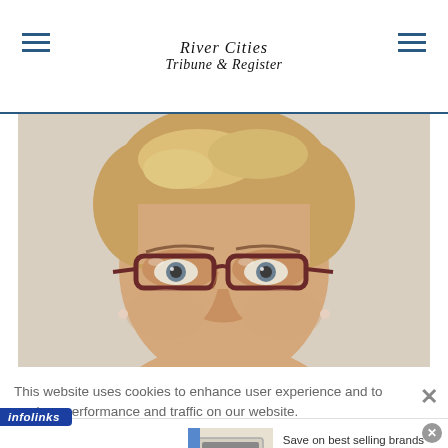River Cities Tribune & Register
[Figure (photo): Close-up portrait of a middle-aged woman with short blonde hair wearing dark red/brown cat-eye glasses, neutral background]
This website uses cookies to enhance user experience and to analyze performance and traffic on our website.
[Figure (logo): Infolinks badge logo (blue background, white italic text 'infolinks')]
[Figure (infographic): Wayfair advertisement: Top Appliances Low Prices with image of white range/stove and purple Shop now button. Save on best selling brands that live up to the hype.]